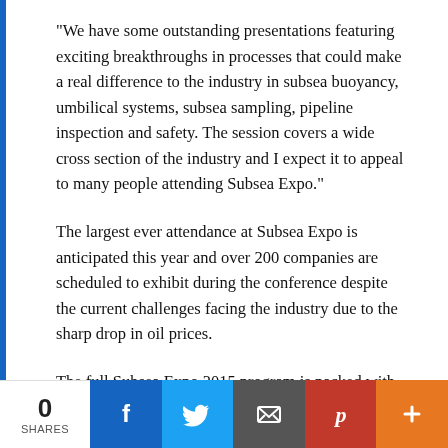“We have some outstanding presentations featuring exciting breakthroughs in processes that could make a real difference to the industry in subsea buoyancy, umbilical systems, subsea sampling, pipeline inspection and safety. The session covers a wide cross section of the industry and I expect it to appeal to many people attending Subsea Expo.”
The largest ever attendance at Subsea Expo is anticipated this year and over 200 companies are scheduled to exhibit during the conference despite the current challenges facing the industry due to the sharp drop in oil prices.
The full Subsea Expo 2015 program is packed with high profile industry speakers delivering leadership messages at
0 SHARES